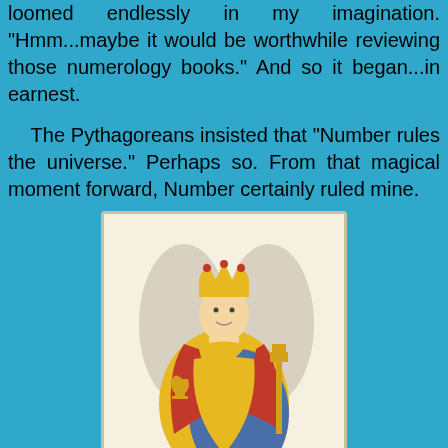loomed endlessly in my imagination. "Hmm...maybe it would be worthwhile reviewing those numerology books." And so it began...in earnest.
The Pythagoreans insisted that "Number rules the universe." Perhaps so. From that magical moment forward, Number certainly ruled mine.
[Figure (illustration): A tarot card illustration depicting a regal crowned figure seated on a throne, wearing yellow and red robes, holding a golden cup in one hand and a scepter in the other, with white throne wings visible behind.]